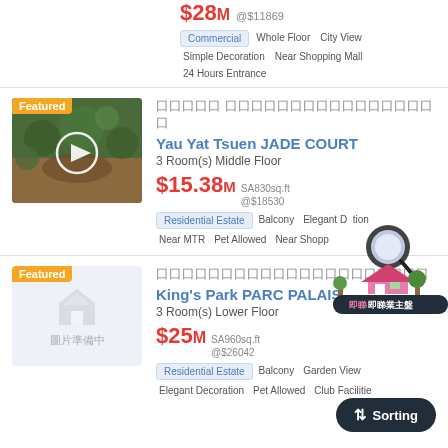$28M @$11869
Commercial  Whole Floor  City View
Simple Decoration  Near Shopping Mall
24 Hours Entrance
[Figure (photo): Featured property photo showing indoor garden patio with plants]
囗囗囗囗囗 囗囗囗囗囗囗囗囗囗囗囗囗囗囗囗囗囗
Yau Yat Tsuen JADE COURT
3 Room(s) Middle Floor
$15.38M SA830sq.ft @$18530
Residential Estate  Balcony  Elegant Decoration
Near MTR  Pet Allowed  Near Shopping Mall
[Figure (photo): Featured property placeholder image - 圖片準備中]
囗囗囗囗囗囗囗囗囗囗囗囗囗囗囗囗囗囗囗囗囗
King's Park PARC PALAIS
3 Room(s) Lower Floor
$25M SA960sq.ft @$26042
Residential Estate  Balcony  Garden View
Elegant Decoration  Pet Allowed  Club Facilities